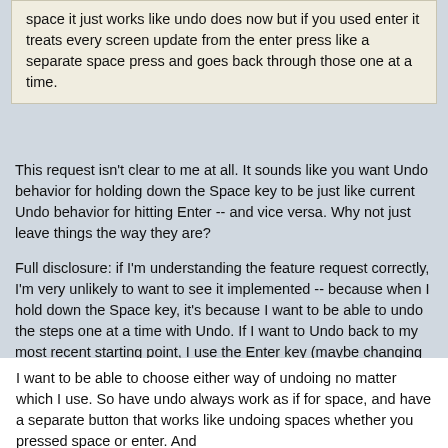space it just works like undo does now but if you used enter it treats every screen update from the enter press like a separate space press and goes back through those one at a time.
This request isn't clear to me at all. It sounds like you want Undo behavior for holding down the Space key to be just like current Undo behavior for hitting Enter -- and vice versa. Why not just leave things the way they are?
Full disclosure: if I'm understanding the feature request correctly, I'm very unlikely to want to see it implemented -- because when I hold down the Space key, it's because I want to be able to undo the steps one at a time with Undo. If I want to Undo back to my most recent starting point, I use the Enter key (maybe changing the speed before I start).
One suggestion I make to everyone who will listen is to change the default step size in File > Preferences > Control > Default base step to 2, for all algorithms except maybe QuickLife. And the "minimum delay" can go to 10 milliseconds or so. That way you get a lot better fine control over the speeds you can choose.
I want to be able to choose either way of undoing no matter which I use. So have undo always work as if for space, and have a separate button that works like undoing spaces whether you pressed space or enter. And